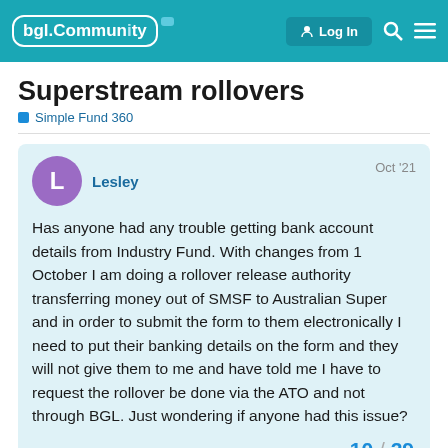bgl.Community — Log In
Superstream rollovers
Simple Fund 360
Lesley Oct '21
Has anyone had any trouble getting bank account details from Industry Fund. With changes from 1 October I am doing a rollover release authority transferring money out of SMSF to Australian Super and in order to submit the form to them electronically I need to put their banking details on the form and they will not give them to me and have told me I have to request the rollover be done via the ATO and not through BGL. Just wondering if anyone had this issue?
10 / 29